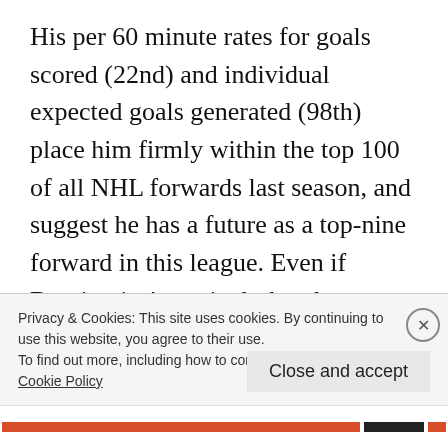His per 60 minute rates for goals scored (22nd) and individual expected goals generated (98th) place him firmly within the top 100 of all NHL forwards last season, and suggest he has a future as a top-nine forward in this league. Even if Bunting isn't particularly adept at creating his own shot, being in the right place at the right time is a skill that is difficult to teach and could be an inspired pick to relieve the Leafs' offensive
Privacy & Cookies: This site uses cookies. By continuing to use this website, you agree to their use.
To find out more, including how to control cookies, see here:
Cookie Policy
Close and accept